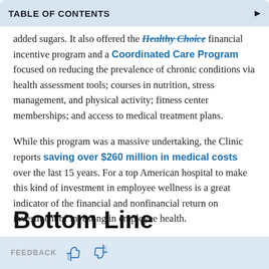TABLE OF CONTENTS
added sugars. It also offered the Healthy Choice financial incentive program and a Coordinated Care Program focused on reducing the prevalence of chronic conditions via health assessment tools; courses in nutrition, stress management, and physical activity; fitness center memberships; and access to medical treatment plans.
While this program was a massive undertaking, the Clinic reports saving over $260 million in medical costs over the last 15 years. For a top American hospital to make this kind of investment in employee wellness is a great indicator of the financial and nonfinancial return on investment of investing in employee health.
Bottom Line
FEEDBACK